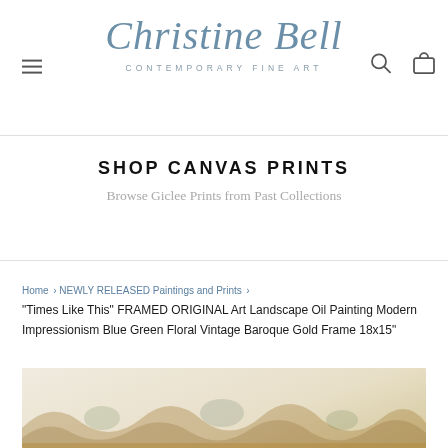Christine Bell CONTEMPORARY FINE ART
SHOP CANVAS PRINTS
Browse Giclee Prints from Past Collections
Home › NEWLY RELEASED Paintings and Prints ›
"Times Like This" FRAMED ORIGINAL Art Landscape Oil Painting Modern Impressionism Blue Green Floral Vintage Baroque Gold Frame 18x15"
[Figure (photo): Partial view of a framed oil painting with baroque gold frame, showing floral/landscape elements with warm golden tones against a light beige background]